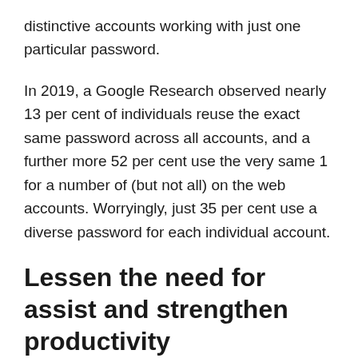distinctive accounts working with just one particular password.
In 2019, a Google Research observed nearly 13 per cent of individuals reuse the exact same password across all accounts, and a further more 52 per cent use the very same 1 for a number of (but not all) on the web accounts. Worryingly, just 35 per cent use a diverse password for each individual account.
Lessen the need for assist and strengthen productivity
Traditionally, for greater safety, businesses have applied actions to enforce the use of complicated passwords